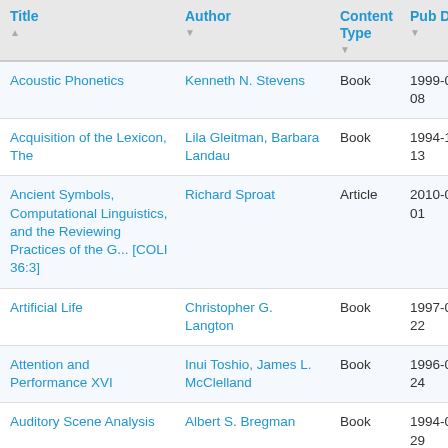| Title | Author | Content Type | Pub Date |
| --- | --- | --- | --- |
| Acoustic Phonetics | Kenneth N. Stevens | Book | 1999-01-08 |
| Acquisition of the Lexicon, The | Lila Gleitman, Barbara Landau | Book | 1994-10-13 |
| Ancient Symbols, Computational Linguistics, and the Reviewing Practices of the G... [COLI 36:3] | Richard Sproat | Article | 2010-09-01 |
| Artificial Life | Christopher G. Langton | Book | 1997-01-22 |
| Attention and Performance XVI | Inui Toshio, James L. McClelland | Book | 1996-04-24 |
| Auditory Scene Analysis | Albert S. Bregman | Book | 1994-09-29 |